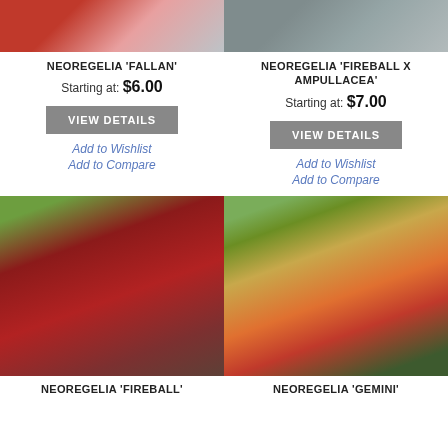[Figure (photo): Photo of Neoregelia 'Fallan' plant with red/pink spiky leaves]
[Figure (photo): Photo of Neoregelia 'Fireball x Ampullacea' plant]
NEOREGELIA 'FALLAN'
Starting at: $6.00
VIEW DETAILS
Add to Wishlist
Add to Compare
NEOREGELIA 'FIREBALL X AMPULLACEA'
Starting at: $7.00
VIEW DETAILS
Add to Wishlist
Add to Compare
[Figure (photo): Photo of Neoregelia 'Fireball' plant with dark red rosette leaves in a green pot]
[Figure (photo): Photo of Neoregelia 'Gemini' plant with elongated green-red leaves spreading outward]
NEOREGELIA 'FIREBALL'
NEOREGELIA 'GEMINI'